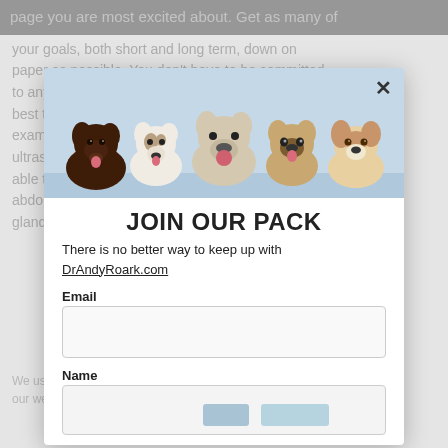page you are most excited about. Get as many of
your goals, both short and long term, down on paper as possible. You don't have to be committed to anything you are writing down here, but do your best to make each goal as specific. For example, if that goal is to perform an ultrasonography, you might write, "I want to be able to perform and charge clients for a thorough abdominal ultrasound that covers all glands)."
[Figure (photo): Photo of five puppies (chocolate lab, Jack Russell terrier, bulldog, pug, beagle) posed together against a light blue background]
JOIN OUR PACK
There is no better way to keep up with DrAndyRoark.com
Email
Name
We use cookies to ensure that we give you the best experience on our website. If you continue to use this site we will assume that you are happy with it.